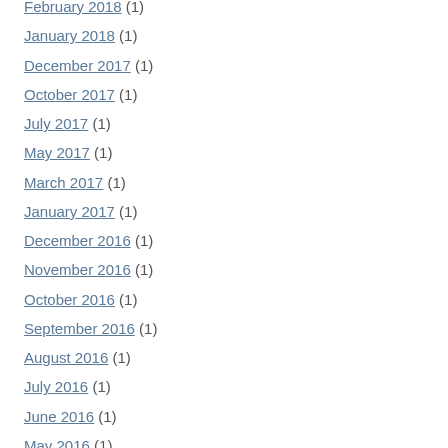February 2018 (1)
January 2018 (1)
December 2017 (1)
October 2017 (1)
July 2017 (1)
May 2017 (1)
March 2017 (1)
January 2017 (1)
December 2016 (1)
November 2016 (1)
October 2016 (1)
September 2016 (1)
August 2016 (1)
July 2016 (1)
June 2016 (1)
May 2016 (1)
April 2016 (1)
March 2016 (1)
February 2016 (1)